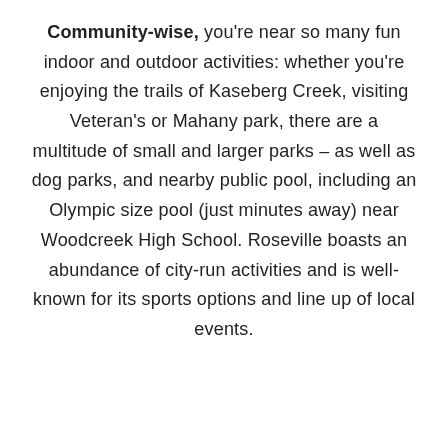Community-wise, you're near so many fun indoor and outdoor activities: whether you're enjoying the trails of Kaseberg Creek, visiting Veteran's or Mahany park, there are a multitude of small and larger parks – as well as dog parks, and nearby public pool, including an Olympic size pool (just minutes away) near Woodcreek High School. Roseville boasts an abundance of city-run activities and is well-known for its sports options and line up of local events.